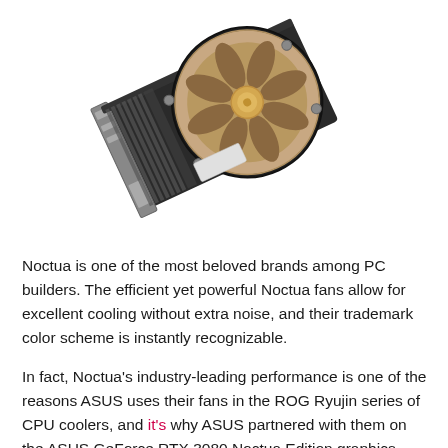[Figure (photo): A diagonal/angled view of an ASUS GeForce RTX 3080 Noctua Edition graphics card, showing the large Noctua cooling fan with its characteristic brown/beige color scheme, mounted on a dark PCIe card with metal bracket visible.]
Noctua is one of the most beloved brands among PC builders. The efficient yet powerful Noctua fans allow for excellent cooling without extra noise, and their trademark color scheme is instantly recognizable.
In fact, Noctua's industry-leading performance is one of the reasons ASUS uses their fans in the ROG Ryujin series of CPU coolers, and it's why ASUS partnered with them on the ASUS GeForce RTX 3080 Noctua Edition graphics